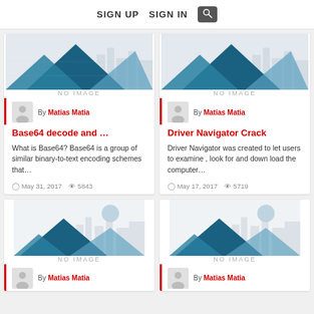SIGN UP   SIGN IN   [search]
[Figure (screenshot): Card: Base64 decode and ... by Matias Matia, May 31 2017, 5843 views]
[Figure (screenshot): Card: Driver Navigator Crack by Matias Matia, May 17 2017, 5719 views]
[Figure (screenshot): Card partial: no image placeholder, by Matias Matia]
[Figure (screenshot): Card partial: no image placeholder, by Matias Matia]